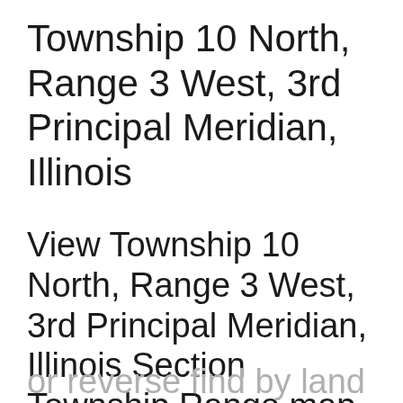Township 10 North, Range 3 West, 3rd Principal Meridian, Illinois
View Township 10 North, Range 3 West, 3rd Principal Meridian, Illinois Section Township Range map on Google Maps • Free township and range locator searches by address, place
or reverse find by land parcel description